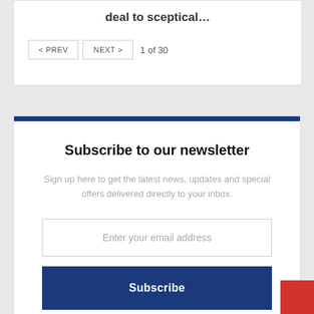deal to sceptical…
< PREV   NEXT >   1 of 30
Subscribe to our newsletter
Sign up here to get the latest news, updates and special offers delivered directly to your inbox.
Enter your email address
Subscribe